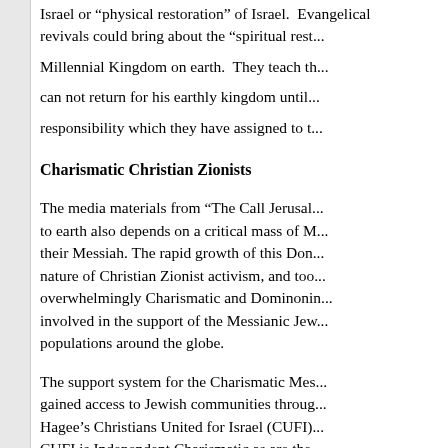Israel or "physical restoration" of Israel. Evangelical revivals could bring about the "spiritual rest... Millennial Kingdom on earth. They teach that... can not return for his earthly kingdom until... responsibility which they have assigned to t...
Charismatic Christian Zionists
The media materials from "The Call Jerusal... to earth also depends on a critical mass of M... their Messiah. The rapid growth of this Don... nature of Christian Zionist activism, and too... overwhelmingly Charismatic and Dominonin... involved in the support of the Messianic Jew... populations around the globe.
The support system for the Charismatic Mes... gained access to Jewish communities throug... Hagee's Christians United for Israel (CUFI)... CUFI is Independent Charismatic as are the... continues to be a vocal Dispensationalist st...